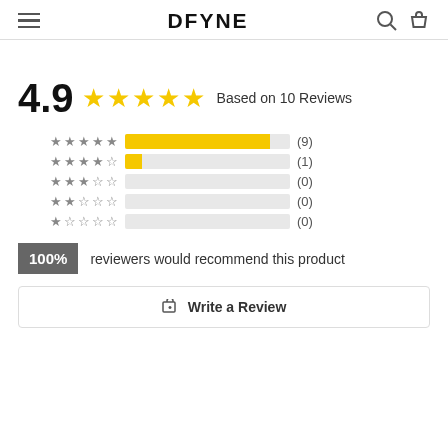DFYNE
4.9 ★★★★★ Based on 10 Reviews
[Figure (bar-chart): Star rating distribution]
100% reviewers would recommend this product
Write a Review